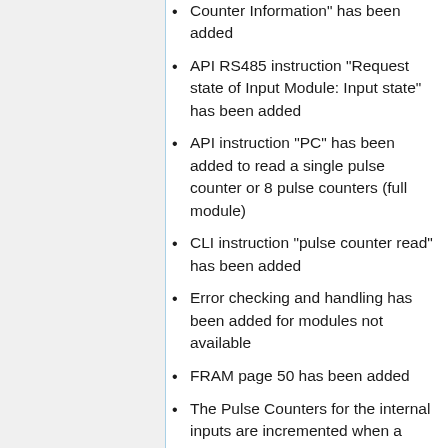Counter Information" has been added
API RS485 instruction "Request state of Input Module: Input state" has been added
API instruction "PC" has been added to read a single pulse counter or 8 pulse counters (full module)
CLI instruction "pulse counter read" has been added
Error checking and handling has been added for modules not available
FRAM page 50 has been added
The Pulse Counters for the internal inputs are incremented when a "press" is detected
Every 300ms, the Master will check if any of the internal pulse